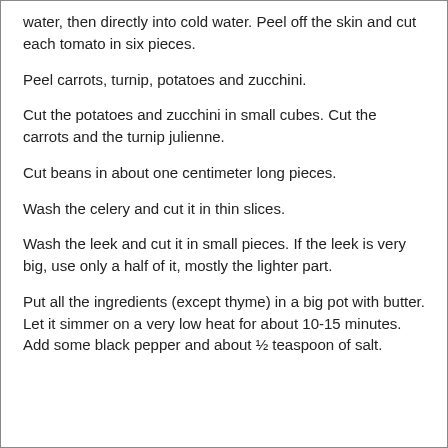water, then directly into cold water. Peel off the skin and cut each tomato in six pieces.
Peel carrots, turnip, potatoes and zucchini.
Cut the potatoes and zucchini in small cubes. Cut the carrots and the turnip julienne.
Cut beans in about one centimeter long pieces.
Wash the celery and cut it in thin slices.
Wash the leek and cut it in small pieces. If the leek is very big, use only a half of it, mostly the lighter part.
Put all the ingredients (except thyme) in a big pot with butter. Let it simmer on a very low heat for about 10-15 minutes. Add some black pepper and about ½ teaspoon of salt.